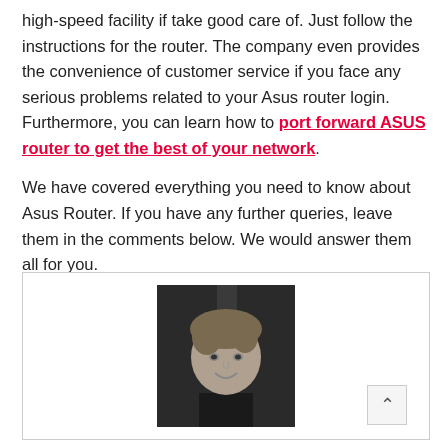high-speed facility if take good care of. Just follow the instructions for the router. The company even provides the convenience of customer service if you face any serious problems related to your Asus router login. Furthermore, you can learn how to port forward ASUS router to get the best of your network.

We have covered everything you need to know about Asus Router. If you have any further queries, leave them in the comments below. We would answer them all for you.
[Figure (photo): Black and white portrait photo of a young smiling man, centered in a card/box with a border.]